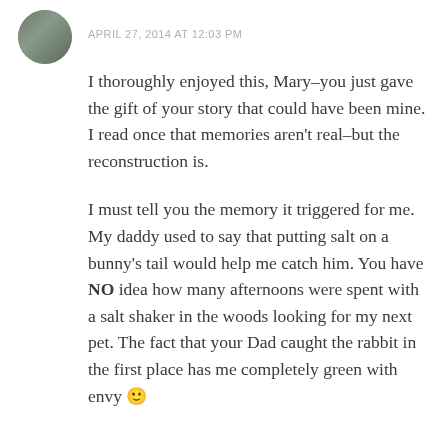[Figure (photo): Circular avatar photo of a person, partially visible, with dark tones]
APRIL 27, 2014 AT 12:03 PM
I thoroughly enjoyed this, Mary–you just gave the gift of your story that could have been mine. I read once that memories aren't real–but the reconstruction is.

I must tell you the memory it triggered for me. My daddy used to say that putting salt on a bunny's tail would help me catch him. You have NO idea how many afternoons were spent with a salt shaker in the woods looking for my next pet. The fact that your Dad caught the rabbit in the first place has me completely green with envy 🙂